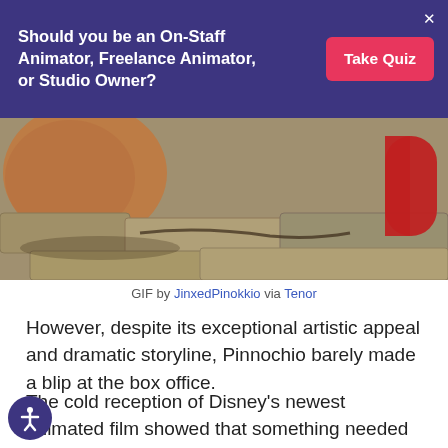Should you be an On-Staff Animator, Freelance Animator, or Studio Owner?
[Figure (photo): Close-up animated scene from Pinocchio showing stone ground and a red cylindrical object at the right edge]
GIF by JinxedPinokkio via Tenor
However, despite its exceptional artistic appeal and dramatic storyline, Pinnochio barely made a blip at the box office.
The cold reception of Disney's newest animated film showed that something needed to be done. This stark reminder that no matter how good the animation was, it was